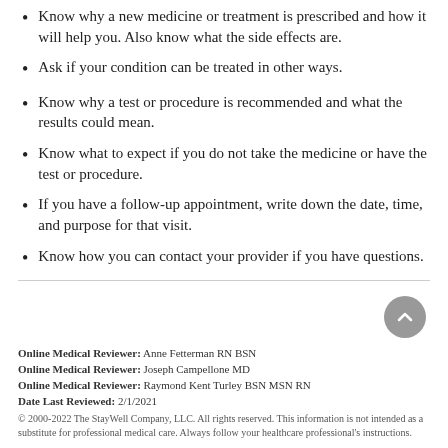Know why a new medicine or treatment is prescribed and how it will help you. Also know what the side effects are.
Ask if your condition can be treated in other ways.
Know why a test or procedure is recommended and what the results could mean.
Know what to expect if you do not take the medicine or have the test or procedure.
If you have a follow-up appointment, write down the date, time, and purpose for that visit.
Know how you can contact your provider if you have questions.
Online Medical Reviewer: Anne Fetterman RN BSN
Online Medical Reviewer: Joseph Campellone MD
Online Medical Reviewer: Raymond Kent Turley BSN MSN RN
Date Last Reviewed: 2/1/2021
© 2000-2022 The StayWell Company, LLC. All rights reserved. This information is not intended as a substitute for professional medical care. Always follow your healthcare professional's instructions.